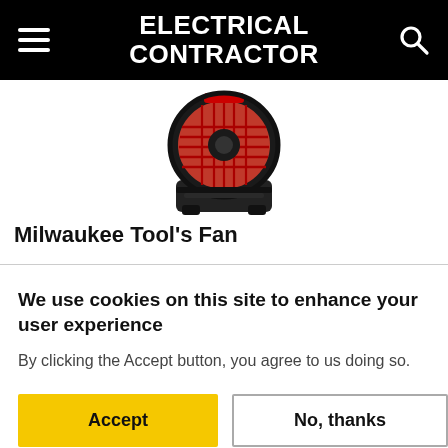ELECTRICAL CONTRACTOR
[Figure (photo): Photo of Milwaukee Tool's Fan, a red and black portable fan tool, partially visible at top of page]
Milwaukee Tool’s Fan
We use cookies on this site to enhance your user experience
By clicking the Accept button, you agree to us doing so.
Accept
No, thanks